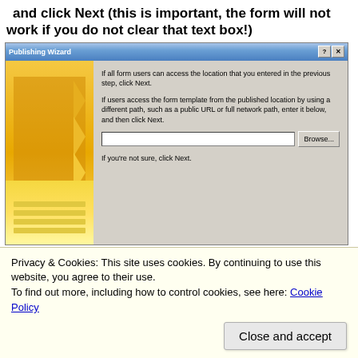and click Next (this is important, the form will not work if you do not clear that text box!)
[Figure (screenshot): Publishing Wizard dialog box screenshot showing options for form template publishing location, a text input field, a Browse button, and instructional text.]
Privacy & Cookies: This site uses cookies. By continuing to use this website, you agree to their use.
To find out more, including how to control cookies, see here: Cookie Policy
Close and accept